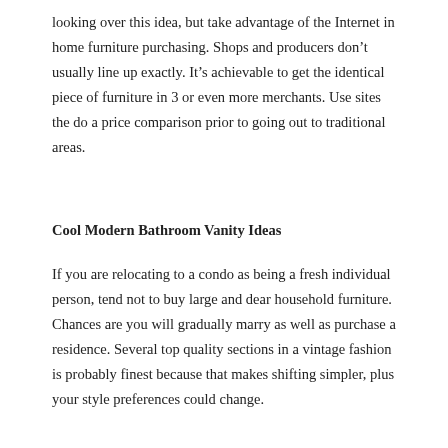looking over this idea, but take advantage of the Internet in home furniture purchasing. Shops and producers don’t usually line up exactly. It’s achievable to get the identical piece of furniture in 3 or even more merchants. Use sites the do a price comparison prior to going out to traditional areas.
Cool Modern Bathroom Vanity Ideas
If you are relocating to a condo as being a fresh individual person, tend not to buy large and dear household furniture. Chances are you will gradually marry as well as purchase a residence. Several top quality sections in a vintage fashion is probably finest because that makes shifting simpler, plus your style preferences could change.
Fancy Modern Bathroom Vanity Layout
If you are searching for employed furnishings, you need to appearance on